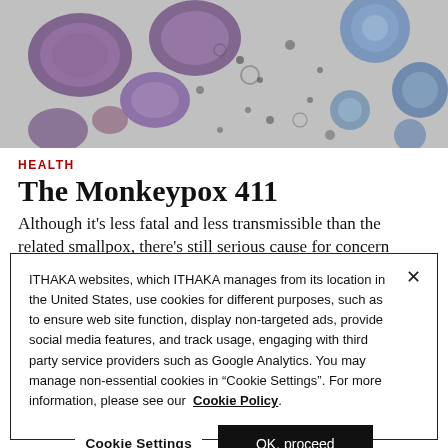[Figure (photo): Microscope image of monkeypox virus particles — large purple/violet oval shapes and smaller blue-gray circles against a gray background]
HEALTH
The Monkeypox 411
Although it’s less fatal and less transmissible than the related smallpox, there’s still serious cause for concern
ITHAKA websites, which ITHAKA manages from its location in the United States, use cookies for different purposes, such as to ensure web site function, display non-targeted ads, provide social media features, and track usage, engaging with third party service providers such as Google Analytics. You may manage non-essential cookies in “Cookie Settings”. For more information, please see our Cookie Policy.